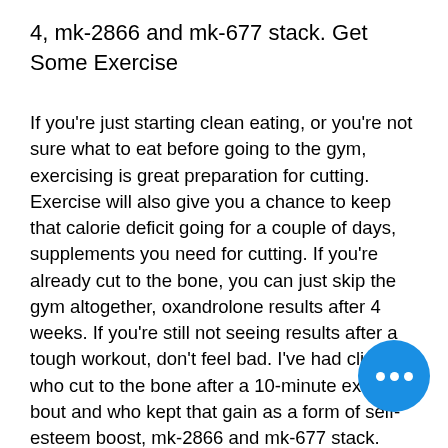4, mk-2866 and mk-677 stack. Get Some Exercise
If you're just starting clean eating, or you're not sure what to eat before going to the gym, exercising is great preparation for cutting. Exercise will also give you a chance to keep that calorie deficit going for a couple of days, supplements you need for cutting. If you're already cut to the bone, you can just skip the gym altogether, oxandrolone results after 4 weeks. If you're still not seeing results after a tough workout, don't feel bad. I've had clients who cut to the bone after a 10-minute exercise bout and who kept that gain as a form of self-esteem boost, mk-2866 and mk-677 stack. Plus, if you're cut and want to burn fat and lose your lean muscle as much as possible, exercise will help you burn calories.